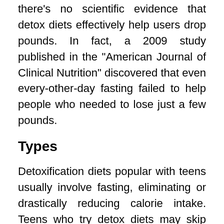there's no scientific evidence that detox diets effectively help users drop pounds. In fact, a 2009 study published in the "American Journal of Clinical Nutrition" discovered that even every-other-day fasting failed to help people who needed to lose just a few pounds.
Types
Detoxification diets popular with teens usually involve fasting, eliminating or drastically reducing calorie intake. Teens who try detox diets may skip meals for several days and then drink only juice or eat only fruit and raw vegetables as a way to reintroduce their bodies to food. For some teens, taking teas, herbs or supplements are part of the detox diet plan; for example, one popular detox diet